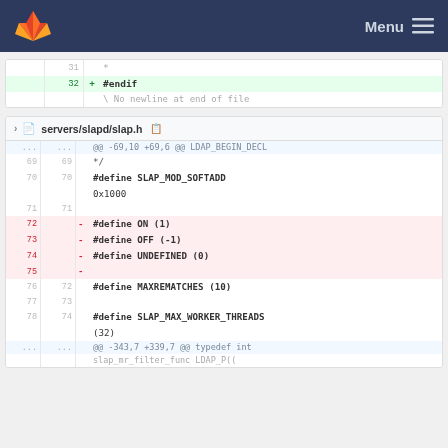Menu (GitLab navigation bar)
[Figure (screenshot): GitLab diff view showing two files: end of one diff with lines 31-32 (#endif added) and no-newline notice; and servers/slapd/slap.h diff showing lines 69-78 with removals of #define ON (1), #define OFF (-1), #define UNDEFINED (0), and an empty line, plus context lines for #define SLAP_MOD_SOFTADD, #define MAXREMATCHES (10), #define SLAP_MAX_WORKER_THREADS (32), and a hunk header at bottom.]